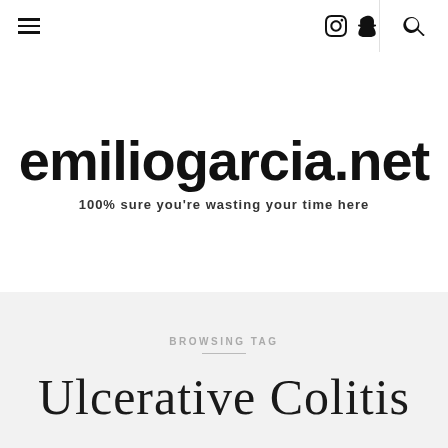Navigation bar with hamburger menu, Instagram icon, Snapchat icon, and search icon
emiliogarcia.net
100% sure you're wasting your time here
BROWSING TAG
Ulcerative Colitis